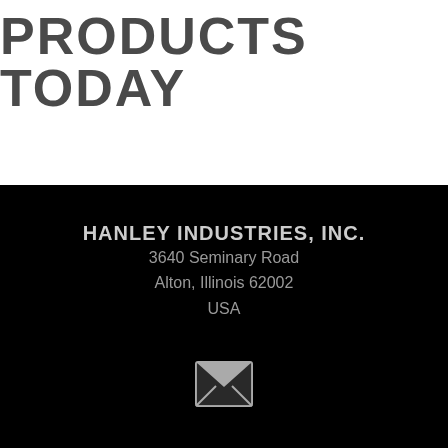PRODUCTS TODAY
HANLEY INDUSTRIES, INC.
3640 Seminary Road
Alton, Illinois 62002
USA
[Figure (illustration): Envelope/mail icon in light gray on black background]